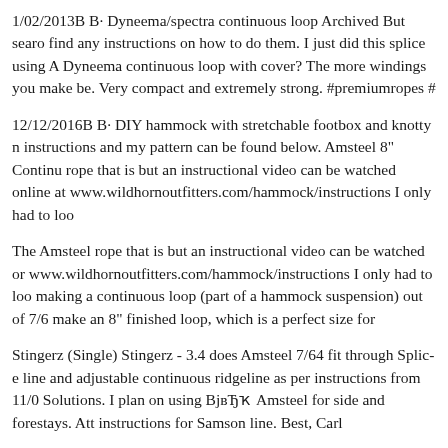1/02/2013В В· Dyneema/spectra continuous loop Archived But search find any instructions on how to do them. I just did this splice using A Dyneema continuous loop with cover? The more windings you make be. Very compact and extremely strong. #premiumropes #
12/12/2016В В· DIY hammock with stretchable footbox and knotty n instructions and my pattern can be found below. Amsteel 8" Continu rope that is but an instructional video can be watched online at www.wildhornoutfitters.com/hammock/instructions I only had to loo
The Amsteel rope that is but an instructional video can be watched or www.wildhornoutfitters.com/hammock/instructions I only had to loo making a continuous loop (part of a hammock suspension) out of 7/6 make an 8" finished loop, which is a perfect size for
Stingerz (Single) Stingerz - 3.4 does Amsteel 7/64 fit through Splice line and adjustable continuous ridgeline as per instructions from 11/0 Solutions. I plan on using ВјвЂҡ Amsteel for side and forestays. Att instructions for Samson line. Best, Carl